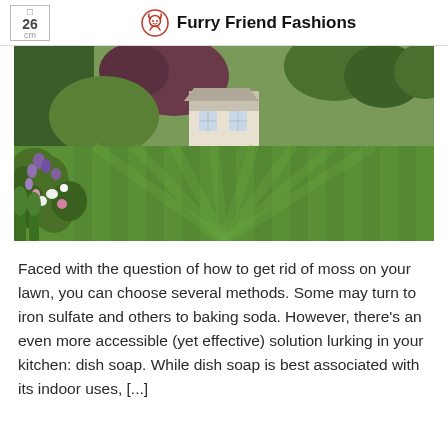26 cm | Furry Friend Fashions
[Figure (photo): A beautifully manicured garden with striped mowed lawn, colorful flower borders on the left side including purple, pink and white flowers, lush green hedges and trees, and a small white garden house/shed in the background.]
Faced with the question of how to get rid of moss on your lawn, you can choose several methods. Some may turn to iron sulfate and others to baking soda. However, there’s an even more accessible (yet effective) solution lurking in your kitchen: dish soap. While dish soap is best associated with its indoor uses, [...]